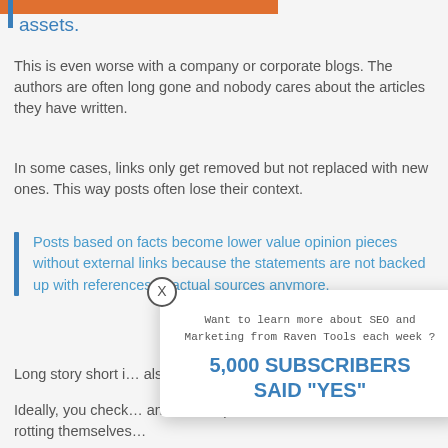assets.
This is even worse with a company or corporate blogs. The authors are often long gone and nobody cares about the articles they have written.
In some cases, links only get removed but not replaced with new ones. This way posts often lose their context.
Posts based on facts become lower value opinion pieces without external links because the statements are not backed up with references to actual sources anymore.
Long story short i... also to replace th...
Ideally, you check... and even replace... rotting themselves...
[Figure (infographic): Popup overlay with X close button, text 'Want to learn more about SEO and Marketing from Raven Tools each week ?' and large bold text '5,000 SUBSCRIBERS SAID "YES"']